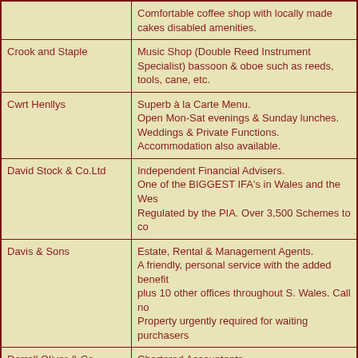| Name | Description |
| --- | --- |
|  | Comfortable coffee shop with locally made cakes disabled amenities. |
| Crook and Staple | Music Shop (Double Reed Instrument Specialist) bassoon & oboe such as reeds, tools, cane, etc. |
| Cwrt Henllys | Superb à la Carte Menu.
Open Mon-Sat evenings & Sunday lunches.
Weddings & Private Functions.
Accommodation also available. |
| David Stock & Co.Ltd | Independent Financial Advisers.
One of the BIGGEST IFA's in Wales and the West.
Regulated by the PIA. Over 3,500 Schemes to co |
| Davis & Sons | Estate, Rental & Management Agents.
A friendly, personal service with the added benefit
plus 10 other offices throughout S. Wales. Call no
Property urgently required for waiting purchasers |
| Dorrell Oliver & Co | Chartered Accountants |
| Julian Dyer & Co | Chartered Surveyors & Estate Agents.
Letting Agents, Property Management, Homebuye |